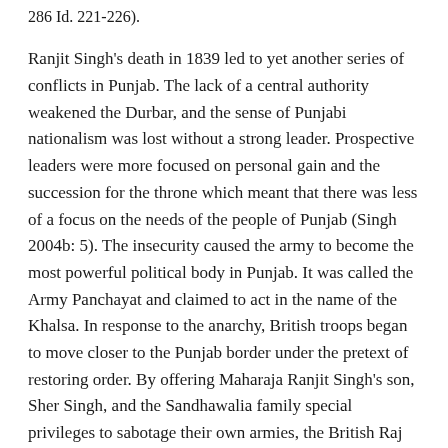286 Id. 221-226).
Ranjit Singh's death in 1839 led to yet another series of conflicts in Punjab. The lack of a central authority weakened the Durbar, and the sense of Punjabi nationalism was lost without a strong leader. Prospective leaders were more focused on personal gain and the succession for the throne which meant that there was less of a focus on the needs of the people of Punjab (Singh 2004b: 5). The insecurity caused the army to become the most powerful political body in Punjab. It was called the Army Panchayat and claimed to act in the name of the Khalsa. In response to the anarchy, British troops began to move closer to the Punjab border under the pretext of restoring order. By offering Maharaja Ranjit Singh's son, Sher Singh, and the Sandhawalia family special privileges to sabotage their own armies, the British Raj was able to quickly infiltrate Punjab (Singh 2004b: 18-21). Other leaders of Punjab, such as Maharani Jindan, Raja Lal Singh and Tej Singh were willing to sell Punjab to the British in exchange for their